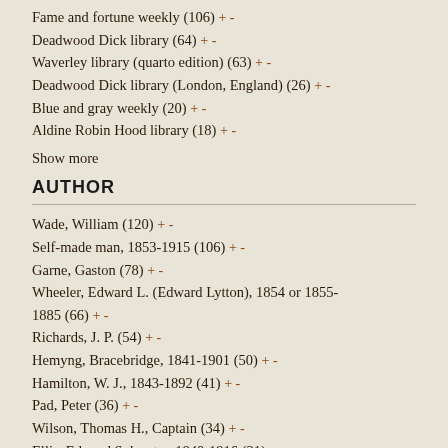Fame and fortune weekly (106) + -
Deadwood Dick library (64) + -
Waverley library (quarto edition) (63) + -
Deadwood Dick library (London, England) (26) + -
Blue and gray weekly (20) + -
Aldine Robin Hood library (18) + -
Show more
AUTHOR
Wade, William (120) + -
Self-made man, 1853-1915 (106) + -
Garne, Gaston (78) + -
Wheeler, Edward L. (Edward Lytton), 1854 or 1855-1885 (66) + -
Richards, J. P. (54) + -
Hemyng, Bracebridge, 1841-1901 (50) + -
Hamilton, W. J., 1843-1892 (41) + -
Pad, Peter (36) + -
Wilson, Thomas H., Captain (34) + -
Ellis, Edward Sylvester, 1840-1916 (31) + -